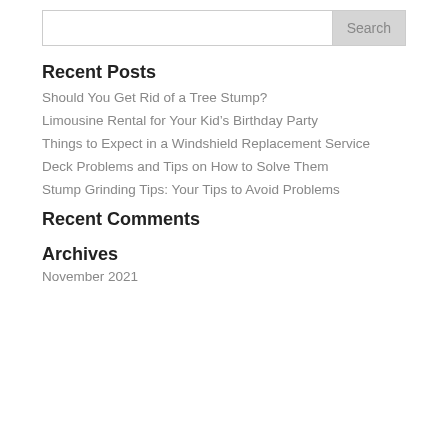Recent Posts
Should You Get Rid of a Tree Stump?
Limousine Rental for Your Kid’s Birthday Party
Things to Expect in a Windshield Replacement Service
Deck Problems and Tips on How to Solve Them
Stump Grinding Tips: Your Tips to Avoid Problems
Recent Comments
Archives
November 2021